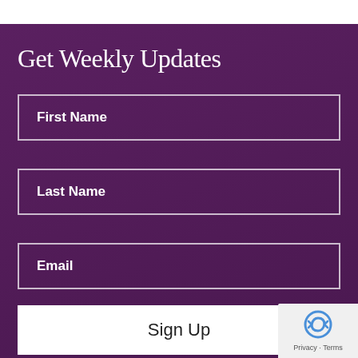Get Weekly Updates
First Name
Last Name
Email
Sign Up
[Figure (other): reCAPTCHA widget with Privacy and Terms links]